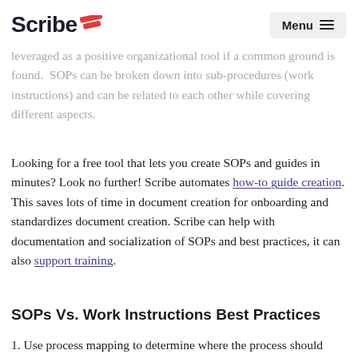Scribe — Menu
leveraged as a positive organizational tool if a common ground is found. SOPs can be broken down into sub-procedures (work instructions) and can be related to each other while covering different aspects.
Looking for a free tool that lets you create SOPs and guides in minutes? Look no further! Scribe automates how-to guide creation. This saves lots of time in document creation for onboarding and standardizes document creation. Scribe can help with documentation and socialization of SOPs and best practices, it can also support training.
SOPs Vs. Work Instructions Best Practices
1. Use process mapping to determine where the process should start and end. And while process mapping might